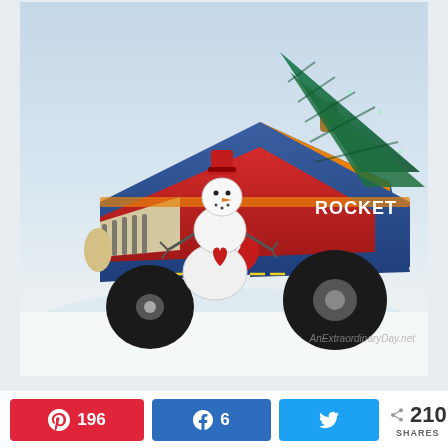[Figure (photo): A vintage tin toy rocket race car numbered 7 with a snowman figurine sitting in the driver seat and a bottle brush Christmas tree mounted on the back, posed on a snowy white surface against a light blue-grey background. Watermark reads: AnExtraordinaryDay.net]
A 196  f 6  t  < 210 SHARES